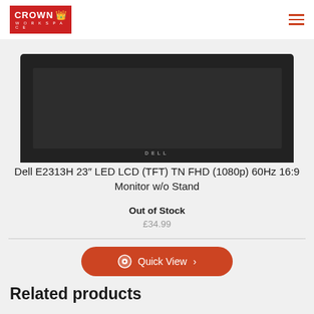Crown Workspace
[Figure (photo): Dell E2313H monitor without stand, dark bezel, DELL branding on lower bezel]
Dell E2313H 23" LED LCD (TFT) TN FHD (1080p) 60Hz 16:9 Monitor w/o Stand
Out of Stock
£34.99
Quick View
Related products